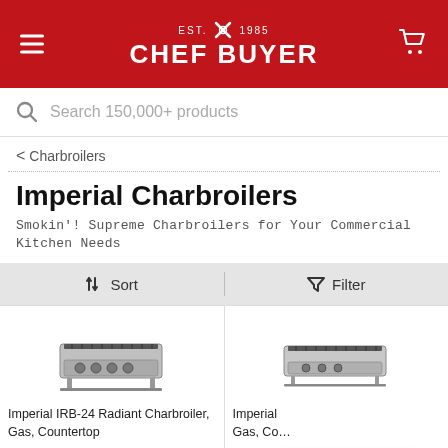EST. 1985 CHEF BUYER
Search 150,000+ products
< Charbroilers
Imperial Charbroilers
Smokin'! Supreme Charbroilers for Your Commercial Kitchen Needs
↑↓ Sort   Filter
[Figure (photo): Imperial IRB-24 Radiant Charbroiler countertop unit, stainless steel, gas]
Imperial IRB-24 Radiant Charbroiler, Gas, Countertop
[Figure (photo): Imperial charbroiler countertop unit, stainless steel, gas, second model]
Imperial Gas, Co…